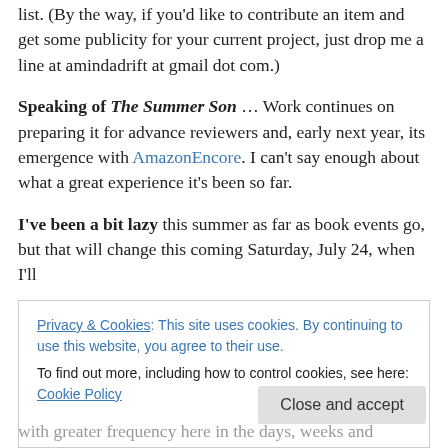list. (By the way, if you'd like to contribute an item and get some publicity for your current project, just drop me a line at amindadrift at gmail dot com.)
Speaking of The Summer Son … Work continues on preparing it for advance reviewers and, early next year, its emergence with AmazonEncore. I can't say enough about what a great experience it's been so far.
I've been a bit lazy this summer as far as book events go, but that will change this coming Saturday, July 24, when I'll
Privacy & Cookies: This site uses cookies. By continuing to use this website, you agree to their use. To find out more, including how to control cookies, see here: Cookie Policy
Close and accept
with greater frequency here in the days, weeks and